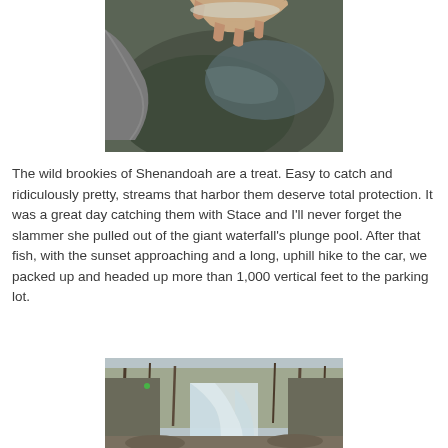[Figure (photo): Close-up of hands holding a small brook trout over a wet mossy rock near water]
The wild brookies of Shenandoah are a treat. Easy to catch and ridiculously pretty, streams that harbor them deserve total protection. It was a great day catching them with Stace and I'll never forget the slammer she pulled out of the giant waterfall's plunge pool. After that fish, with the sunset approaching and a long, uphill hike to the car, we packed up and headed up more than 1,000 vertical feet to the parking lot.
[Figure (photo): A waterfall cascading between rocky walls with bare winter trees in the background]